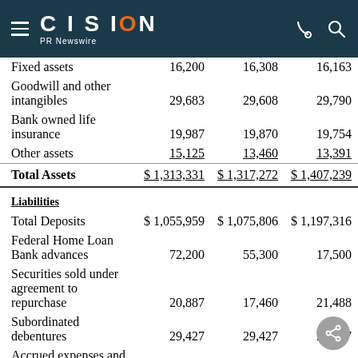CISION PR Newswire
|  | Col1 | Col2 | Col3 |
| --- | --- | --- | --- |
| Fixed assets | 16,200 | 16,308 | 16,163 |
| Goodwill and other intangibles | 29,683 | 29,608 | 29,790 |
| Bank owned life insurance | 19,987 | 19,870 | 19,754 |
| Other assets | 15,125 | 13,460 | 13,391 |
| Total Assets | $ 1,313,331 | $ 1,317,272 | $ 1,407,239 |
| Liabilities |  |  |  |
| Total Deposits | $ 1,055,959 | $ 1,075,806 | $ 1,197,316 |
| Federal Home Loan Bank advances | 72,200 | 55,300 | 17,500 |
| Securities sold under agreement to repurchase | 20,887 | 17,460 | 21,488 |
| Subordinated debentures | 29,427 | 29,427 | 29,427 |
| Accrued expenses and other liabilities | 44,501 | 40,857 | 38,591 |